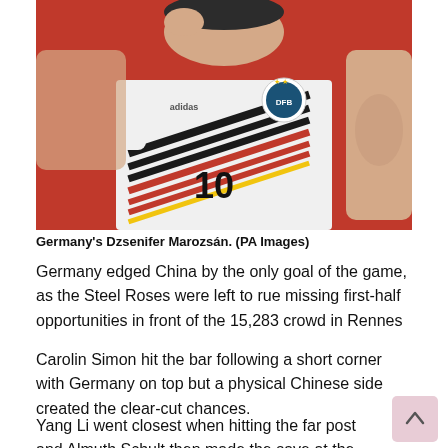[Figure (photo): Photo of Germany's Dzsenifer Marozsán wearing the German national team white jersey with number 10, holding her hand up near her head, with visible tattoos on her arm. Red background.]
Germany's Dzsenifer Marozsán. (PA Images)
Germany edged China by the only goal of the game, as the Steel Roses were left to rue missing first-half opportunities in front of the 15,283 crowd in Rennes
Carolin Simon hit the bar following a short corner with Germany on top but a physical Chinese side created the clear-cut chances.
Yang Li went closest when hitting the far post and Almuth Schult then made the save at the second attempt.